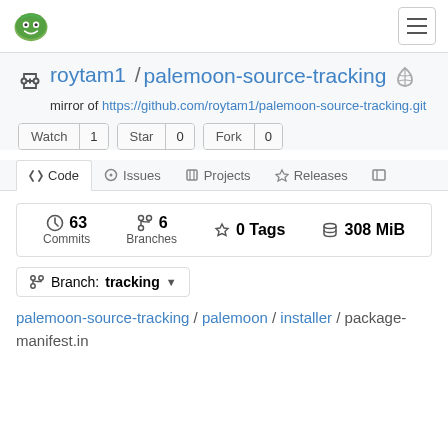Gitea logo | hamburger menu
roytam1 / palemoon-source-tracking
mirror of https://github.com/roytam1/palemoon-source-tracking.git
Watch 1  Star 0  Fork 0
<> Code  Issues  Projects  Releases  Wiki
63 Commits  6 Branches  0 Tags  308 MiB
Branch: tracking
palemoon-source-tracking / palemoon / installer / package-manifest.in